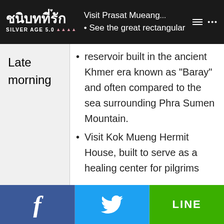ชนิบทที่รัก SILVER AGE 5.0 — Visit Prasat Mueang...
| Time | Activity |
| --- | --- |
| Late morning | • Visit Prasat Mueang... • See the great rectangular reservoir built in the ancient Khmer era known as "Baray" and often compared to the sea surrounding Phra Sumen Mountain. • Visit Kok Mueng Hermit House, built to serve as a healing center for pilgrims |
Facebook | Twitter | LINE